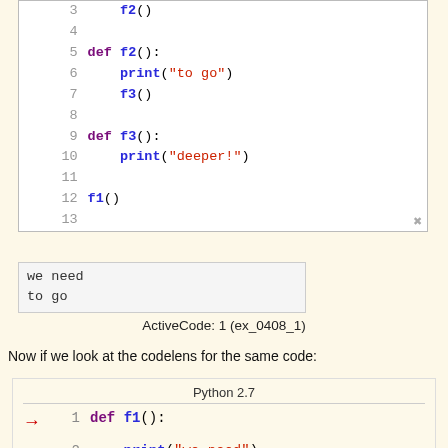[Figure (screenshot): Code editor showing Python code lines 3-13 with syntax highlighting. Line 3: f2(), Line 4: blank, Line 5: def f2():, Line 6: print('to go'), Line 7: f3(), Line 8: blank, Line 9: def f3():, Line 10: print('deeper!'), Line 11: blank, Line 12: f1(), Line 13: blank]
[Figure (screenshot): Output box showing: we need / to go]
ActiveCode: 1 (ex_0408_1)
Now if we look at the codelens for the same code:
[Figure (screenshot): CodeLens view showing Python 2.7 with arrow pointing to line 1: def f1():, line 2: print('we need'), line 3: f2()]